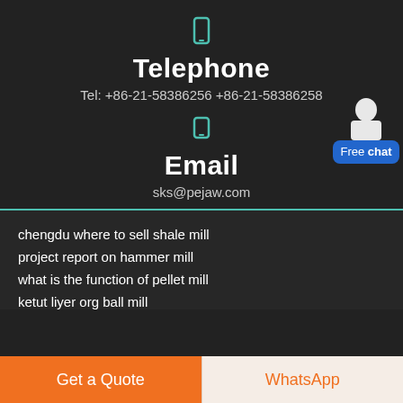[Figure (illustration): Teal phone/telephone icon]
Telephone
Tel: +86-21-58386256 +86-21-58386258
[Figure (illustration): Teal email/envelope icon]
Email
sks@pejaw.com
[Figure (illustration): Customer service agent with Free chat badge]
chengdu where to sell shale mill
project report on hammer mill
what is the function of pellet mill
ketut liyer org ball mill
Get a Quote
WhatsApp